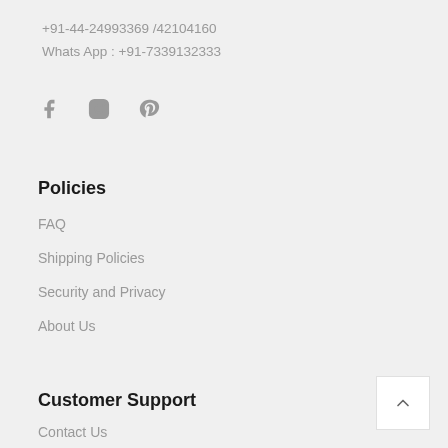+91-44-24993369 /42104160
Whats App : +91-7339132333
[Figure (illustration): Social media icons: Facebook, Instagram, Pinterest]
Policies
FAQ
Shipping Policies
Security and Privacy
About Us
Customer Support
Contact Us